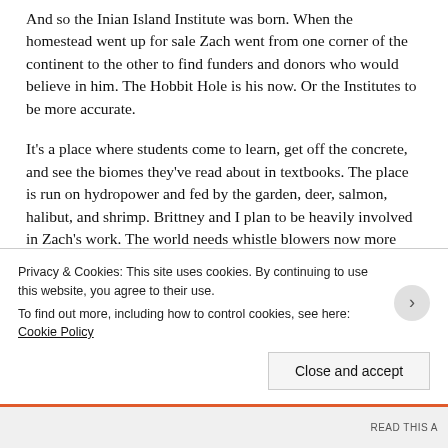And so the Inian Island Institute was born. When the homestead went up for sale Zach went from one corner of the continent to the other to find funders and donors who would believe in him. The Hobbit Hole is his now. Or the Institutes to be more accurate.
It’s a place where students come to learn, get off the concrete, and see the biomes they’ve read about in textbooks. The place is run on hydropower and fed by the garden, deer, salmon, halibut, and shrimp. Brittney and I plan to be heavily involved in Zach’s work. The world needs whistle blowers now more than ever. Patient, convicted, and passionate speakers of truth and fact. And this is a place where we can scream at the top of our lungs and enlist the generation that will either clean up the m...
Privacy & Cookies: This site uses cookies. By continuing to use this website, you agree to their use.
To find out more, including how to control cookies, see here: Cookie Policy
Close and accept